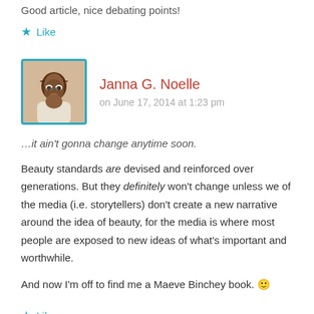Good article, nice debating points!
★ Like
Janna G. Noelle
on June 17, 2014 at 1:23 pm
…it ain't gonna change anytime soon.
Beauty standards are devised and reinforced over generations. But they definitely won't change unless we of the media (i.e. storytellers) don't create a new narrative around the idea of beauty, for the media is where most people are exposed to new ideas of what's important and worthwhile.
And now I'm off to find me a Maeve Binchey book. 🙂
★ Like